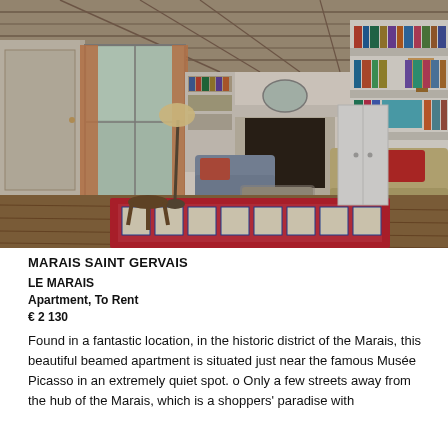[Figure (photo): Interior of a Parisian apartment in Le Marais showing a living room with wooden beamed ceiling, fireplace, bookshelves, armchairs, a sofa with red cushions, a colorful red patterned rug on wooden floors, tall windows with orange curtains, and a floor lamp.]
MARAIS SAINT GERVAIS
LE MARAIS
Apartment, To Rent
€ 2 130
Found in a fantastic location, in the historic district of the Marais, this beautiful beamed apartment is situated just near the famous Musée Picasso in an extremely quiet spot. o Only a few streets away from the hub of the Marais, which is a shoppers' paradise with